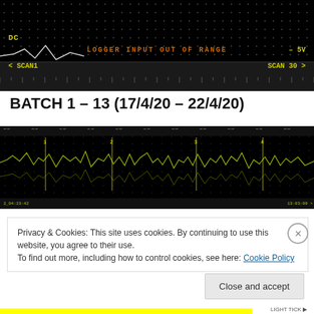[Figure (screenshot): Oscilloscope/data logger screenshot showing a black display with dot grid, a signal line in the upper left, DC label in yellow, 'LOGGER INPUT OUT OF RANGE' warning in orange text, '-5V' in yellow on the right, and scan navigation bar with '< SCAN1' and 'SCAN 30 >' in yellow, plus a ruler tick mark strip at the bottom.]
BATCH 1 – 13 (17/4/20 – 22/4/20)
[Figure (screenshot): Data logger waveform display on black background showing multiple oscillating signal traces (yellowish-green) with batch scan labels 1-4 visible, timestamps at bottom left and right corners.]
Privacy & Cookies: This site uses cookies. By continuing to use this website, you agree to their use.
To find out more, including how to control cookies, see here: Cookie Policy
Close and accept